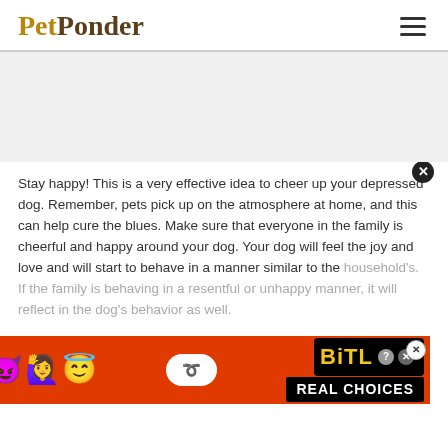PetPonder
Stay happy! This is a very effective idea to cheer up your depressed dog. Remember, pets pick up on the atmosphere at home, and this can help cure the blues. Make sure that everyone in the family is cheerful and happy around your dog. Your dog will feel the joy and love and will start to behave in a manner similar to the household's. If the family is behaving in a resentful or unhappy manner, it will reflect in the dog's behavior as well.
[Figure (screenshot): BitLife advertisement banner with emojis and 'REAL CHOICES' text on red background]